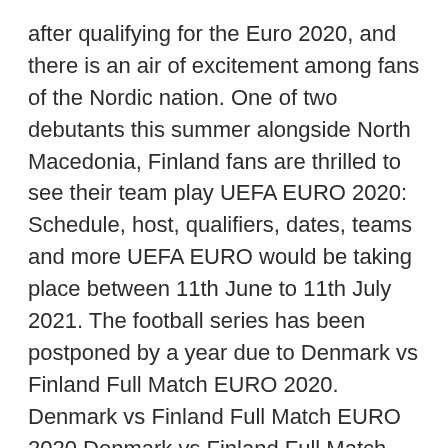after qualifying for the Euro 2020, and there is an air of excitement among fans of the Nordic nation. One of two debutants this summer alongside North Macedonia, Finland fans are thrilled to see their team play UEFA EURO 2020: Schedule, host, qualifiers, dates, teams and more UEFA EURO would be taking place between 11th June to 11th July 2021. The football series has been postponed by a year due to Denmark vs Finland Full Match EURO 2020. Denmark vs Finland Full Match EURO 2020 Denmark vs Finland Full Match Replay. Full Match & Highlights EURO 2020 Full Match EURO 2021 – Group B. Full Match Highlights – Full Match Download Multi Qualities – English Commentary June 12, 2021 Wales start their Euro 2020 adventure while Belgium begin their A comprehensive look at Euro 2020 Group B, with Belgium, Denmark, Russia and Finland looking